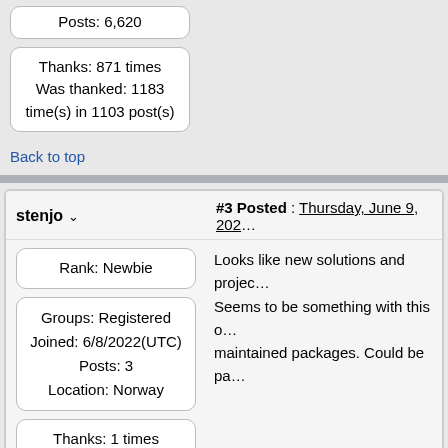Posts: 6,620
Thanks: 871 times
Was thanked: 1183 time(s) in 1103 post(s)
Back to top
stenjo
#3 Posted : Thursday, June 9, 202...
Rank: Newbie
Looks like new solutions and proje... Seems to be something with this o... maintained packages. Could be pa...
Groups: Registered
Joined: 6/8/2022(UTC)
Posts: 3
Location: Norway
Thanks: 1 times
Was thanked: 1 time(s) i...